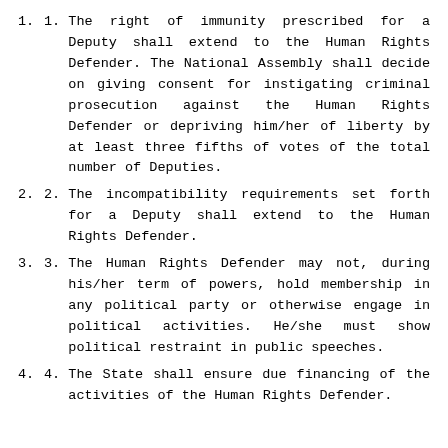The right of immunity prescribed for a Deputy shall extend to the Human Rights Defender. The National Assembly shall decide on giving consent for instigating criminal prosecution against the Human Rights Defender or depriving him/her of liberty by at least three fifths of votes of the total number of Deputies.
The incompatibility requirements set forth for a Deputy shall extend to the Human Rights Defender.
The Human Rights Defender may not, during his/her term of powers, hold membership in any political party or otherwise engage in political activities. He/she must show political restraint in public speeches.
The State shall ensure due financing of the activities of the Human Rights Defender.